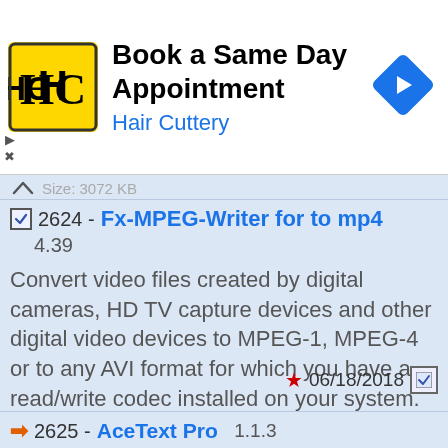[Figure (screenshot): Advertisement banner for Hair Cuttery with logo, 'Book a Same Day Appointment' headline, navigation arrow icon]
2624 - Fx-MPEG-Writer for to mp4
4.39
Convert video files created by digital cameras, HD TV capture devices and other digital video devices to MPEG-1, MPEG-4 or to any AVI format for which you have a read/write codec installed on your system. Supported input types include DV, MPEG, VOB,
06/18/2018
License: Shareware    OS: Windows    Size: 3072 KB
2625 - AceText Pro  1.1.3